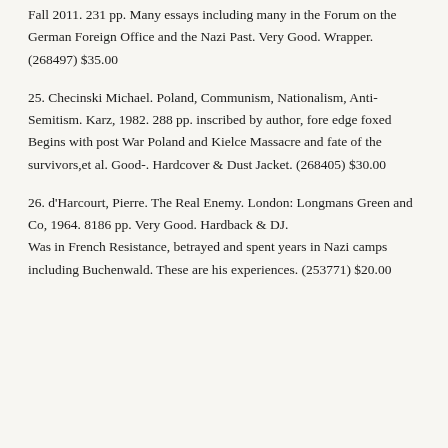Fall 2011. 231 pp. Many essays including many in the Forum on the German Foreign Office and the Nazi Past. Very Good. Wrapper. (268497) $35.00
25. Checinski Michael. Poland, Communism, Nationalism, Anti-Semitism. Karz, 1982. 288 pp. inscribed by author, fore edge foxed Begins with post War Poland and Kielce Massacre and fate of the survivors,et al. Good-. Hardcover & Dust Jacket. (268405) $30.00
26. d'Harcourt, Pierre. The Real Enemy. London: Longmans Green and Co, 1964. 8186 pp. Very Good. Hardback & DJ. Was in French Resistance, betrayed and spent years in Nazi camps including Buchenwald. These are his experiences. (253771) $20.00